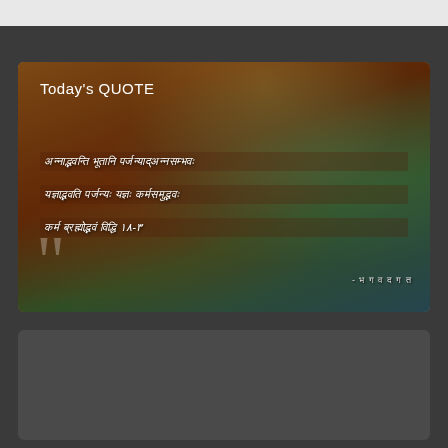[Figure (screenshot): Screenshot of a mobile app showing a decorative card with a religious/devotional image (Krishna and Arjuna scene from Bhagavad Gita) with Sanskrit text quote and 'Today's QUOTE' heading. Dark grey background with two panels visible.]
Today's QUOTE
Sanskrit verse lines (Bhagavad Gita quote in Sanskrit/Devanagari script)
- भ ग व द   ग त